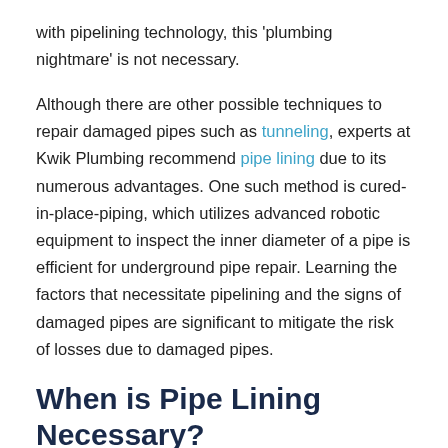with pipelining technology, this 'plumbing nightmare' is not necessary.
Although there are other possible techniques to repair damaged pipes such as tunneling, experts at Kwik Plumbing recommend pipe lining due to its numerous advantages. One such method is cured-in-place-piping, which utilizes advanced robotic equipment to inspect the inner diameter of a pipe is efficient for underground pipe repair. Learning the factors that necessitate pipelining and the signs of damaged pipes are significant to mitigate the risk of losses due to damaged pipes.
When is Pipe Lining Necessary?
Most plumbing pipes are designed from iron, copper, or PVC. Although these materials are relatively durable (lasting for decades), they cannot last forever. They are susceptible to damage from accidents, interaction with natural elements, and